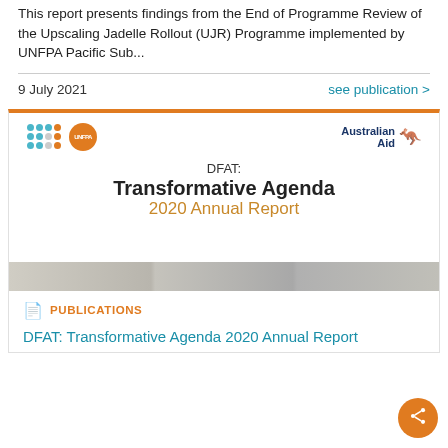This report presents findings from the End of Programme Review of the Upscaling Jadelle Rollout (UJR) Programme implemented by UNFPA Pacific Sub...
9 July 2021
see publication >
[Figure (screenshot): Cover image of DFAT: Transformative Agenda 2020 Annual Report, showing logos for an organization and Australian Aid on top, bold title text in center, and photo strip at bottom.]
PUBLICATIONS
DFAT: Transformative Agenda 2020 Annual Report